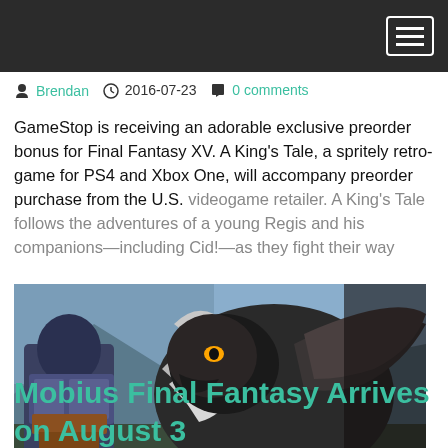Brendan   2016-07-23   0 comments
GameStop is receiving an adorable exclusive preorder bonus for Final Fantasy XV. A King's Tale, a spritely retro-game for PS4 and Xbox One, will accompany preorder purchase from the U.S. videogame retailer. A King's Tale follows the adventures of a young Regis and his companions—including Cid!—as they fight their way
[Figure (photo): Screenshot from Final Fantasy XV showing armored character facing a large winged creature with a small flame icon in bottom right corner]
Mobius Final Fantasy Arrives on August 3